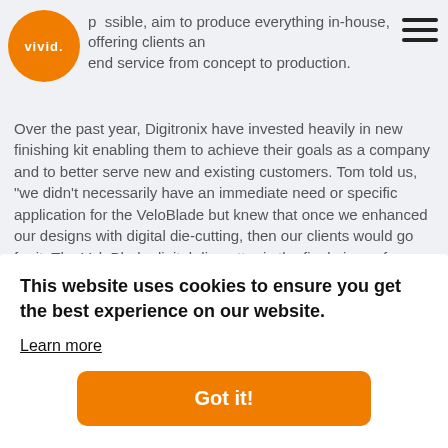possible, aim to produce everything in-house, offering clients an end service from concept to production.
Over the past year, Digitronix have invested heavily in new finishing kit enabling them to achieve their goals as a company and to better serve new and existing customers. Tom told us, "we didn't necessarily have an immediate need or specific application for the VeloBlade but knew that once we enhanced our designs with digital die-cutting, then our clients would go for it. The VeloBlade digital die-cutter is the final piece of equipment to complete a £100k investment in finishing kit in the last 12 months. It's opened up endle
This website uses cookies to ensure you get the best experience on our website.
Learn more
Got it!
[Figure (photo): Dark brown textured material or surface, partially visible at the bottom of the page]